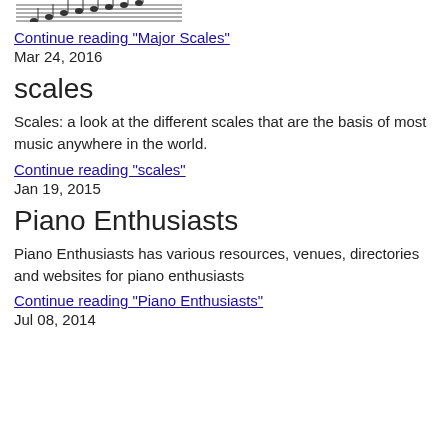[Figure (illustration): Music staff notation image showing major scales]
Continue reading "Major Scales"
Mar 24, 2016
scales
Scales: a look at the different scales that are the basis of most music anywhere in the world.
Continue reading "scales"
Jan 19, 2015
Piano Enthusiasts
Piano Enthusiasts has various resources, venues, directories and websites for piano enthusiasts
Continue reading "Piano Enthusiasts"
Jul 08, 2014